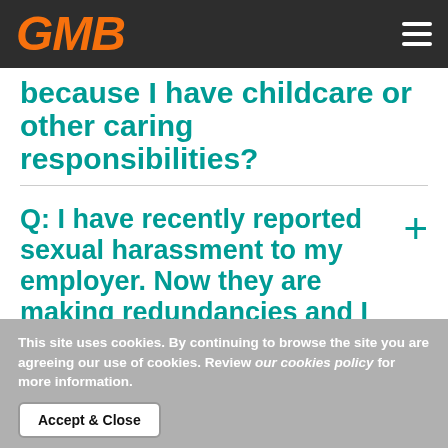GMB
because I have childcare or other caring responsibilities?
Q: I have recently reported sexual harassment to my employer. Now they are making redundancies and I am worried I will
This site uses cookies. By continuing to browse the site you are agreeing our use of cookies. Review our cookies policy for more information.
Accept & Close